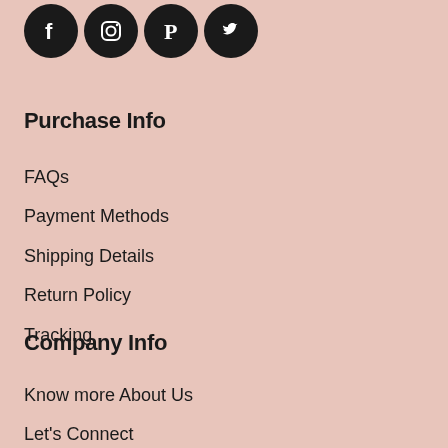[Figure (illustration): Four black circular social media icons in a row: Facebook, Instagram, Pinterest, Twitter]
Purchase Info
FAQs
Payment Methods
Shipping Details
Return Policy
Tracking
Company Info
Know more About Us
Let's Connect
Privacy Policy